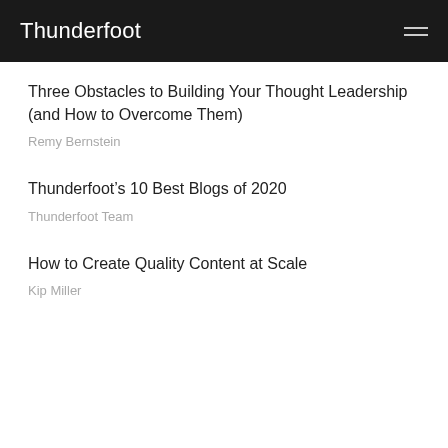Thunderfoot
Three Obstacles to Building Your Thought Leadership (and How to Overcome Them)
Remy Bernstein
Thunderfoot’s 10 Best Blogs of 2020
Thunderfoot Team
How to Create Quality Content at Scale
Kip Miller